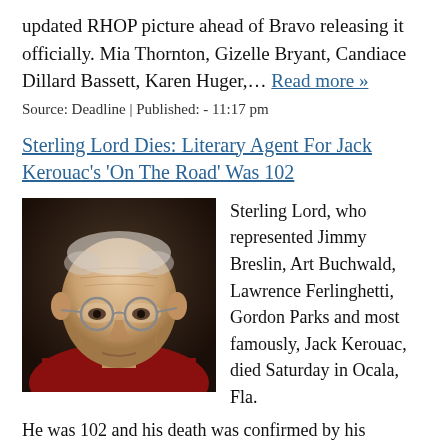updated RHOP picture ahead of Bravo releasing it officially. Mia Thornton, Gizelle Bryant, Candiace Dillard Bassett, Karen Huger,… Read more »
Source: Deadline | Published: - 11:17 pm
Sterling Lord Dies: Literary Agent For Jack Kerouac's 'On The Road' Was 102
[Figure (photo): Close-up photo of an elderly man wearing glasses, with wrinkled skin and gray/white hair, photographed against a dark background, wearing a red shirt.]
Sterling Lord, who represented Jimmy Breslin, Art Buchwald, Lawrence Ferlinghetti, Gordon Parks and most famously, Jack Kerouac, died Saturday in Ocala, Fla. He was 102 and his death was confirmed by his daughter, Rebecca Lord. No cause was given. The list of lit...